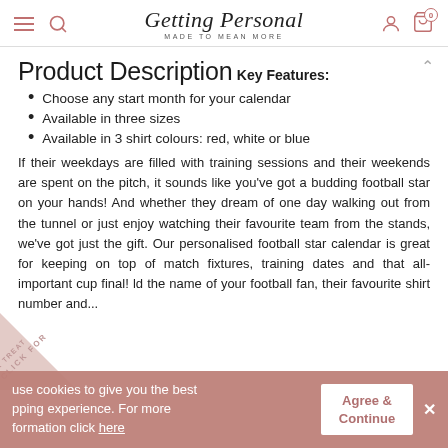Getting Personal — Made to Mean More
Product Description
Key Features:
Choose any start month for your calendar
Available in three sizes
Available in 3 shirt colours: red, white or blue
If their weekdays are filled with training sessions and their weekends are spent on the pitch, it sounds like you've got a budding football star on your hands! And whether they dream of one day walking out from the tunnel or just enjoy watching their favourite team from the stands, we've got just the gift. Our personalised football star calendar is great for keeping on top of match fixtures, training dates and that all-important cup final! ld the name of your football fan, their favourite shirt number and...
use cookies to give you the best pping experience. For more formation click here